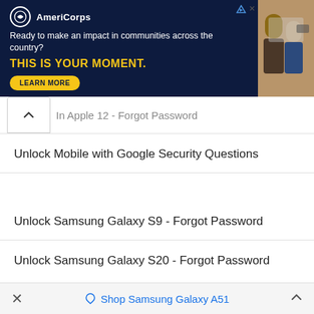[Figure (screenshot): AmeriCorps advertisement banner with dark navy background. Logo with circle icon, tagline 'Ready to make an impact in communities across the country?', headline 'THIS IS YOUR MOMENT.' in yellow, and a 'LEARN MORE' button. Right side shows a photo of people working.]
In Apple 12 - Forgot Password
Unlock Mobile with Google Security Questions
Unlock Samsung Galaxy S9 - Forgot Password
Unlock Samsung Galaxy S20 - Forgot Password
Top Phone Brands to Unlock
Acer	Asus
✕   Shop Samsung Galaxy A51   ∧